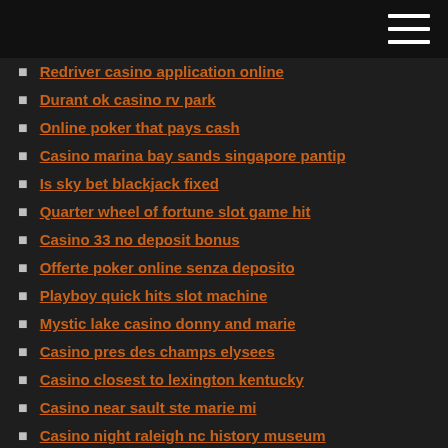Redriver casino application online
Durant ok casino rv park
Online poker that pays cash
Casino marina bay sands singapore pantip
Is sky bet blackjack fixed
Quarter wheel of fortune slot game hit
Casino 33 no deposit bonus
Offerte poker online senza deposito
Playboy quick hits slot machine
Mystic lake casino donny and marie
Casino pres des champs elysees
Casino closest to lexington kentucky
Casino near sault ste marie mi
Casino night raleigh nc history museum